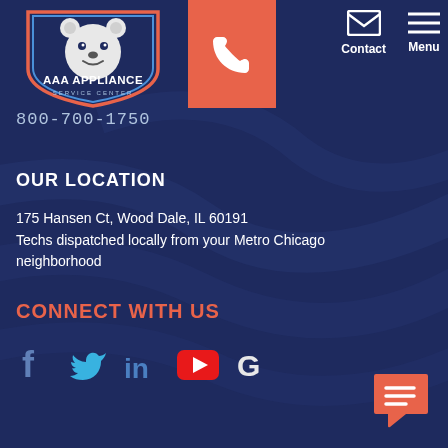[Figure (logo): AAA Appliance Service Center bear logo with shield design]
[Figure (infographic): Phone call button (salmon/orange background) with white phone handset icon]
[Figure (infographic): Contact icon (envelope) and Menu icon (hamburger lines) navigation items]
800-700-1750
OUR LOCATION
175 Hansen Ct, Wood Dale, IL 60191
Techs dispatched locally from your Metro Chicago neighborhood
CONNECT WITH US
[Figure (infographic): Social media icons row: Facebook (blue f), Twitter (cyan bird), LinkedIn (blue in), YouTube (red play button), Google (white G)]
[Figure (infographic): Chat bubble button in salmon/orange color with white lines, bottom right corner]